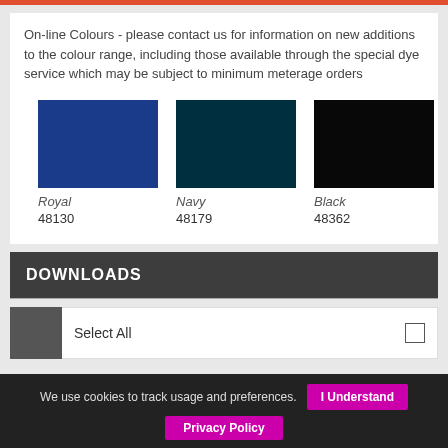On-line Colours - please contact us for information on new additions to the colour range, including those available through the special dye service which may be subject to minimum meterage orders
[Figure (other): Three colour swatches: Royal (48130) - dark royal blue rectangle, Navy (48179) - dark navy/teal rectangle, Black (48362) - black rectangle]
DOWNLOADS
Select All
We use cookies to track usage and preferences.
Privacy Policy